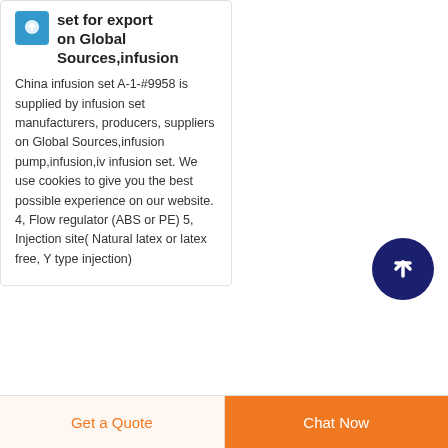set for export on Global Sources,infusion
China infusion set A-1-#9958 is supplied by infusion set manufacturers, producers, suppliers on Global Sources,infusion pump,infusion,iv infusion set. We use cookies to give you the best possible experience on our website. 4, Flow regulator (ABS or PE) 5, Injection site( Natural latex or latex free, Y type injection)
[Figure (illustration): Circular dark navy blue scroll-to-top button with white upward arrow icon]
Get a Quote
Chat Now